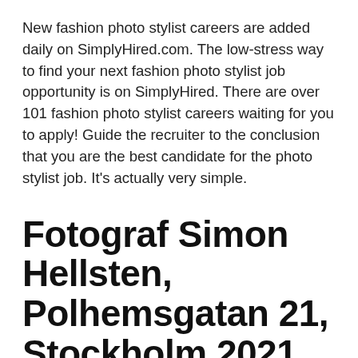New fashion photo stylist careers are added daily on SimplyHired.com. The low-stress way to find your next fashion photo stylist job opportunity is on SimplyHired. There are over 101 fashion photo stylist careers waiting for you to apply! Guide the recruiter to the conclusion that you are the best candidate for the photo stylist job. It's actually very simple.
Fotograf Simon Hellsten, Polhemsgatan 21, Stockholm 2021
In this blog article, I will give a couple of tips on how